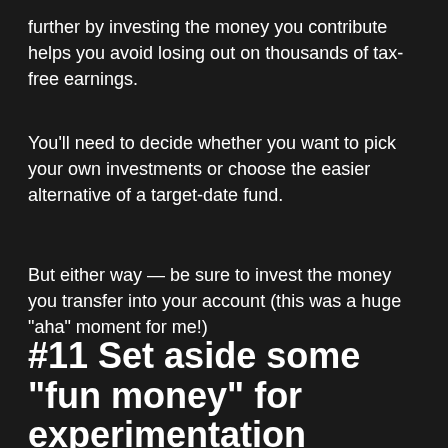further by investing the money you contribute helps you avoid losing out on thousands of tax-free earnings.
You'll need to decide whether you want to pick your own investments or choose the easier alternative of a target-date fund.
But either way — be sure to invest the money you transfer into your account (this was a huge "aha" moment for me!)
#11 Set aside some "fun money" for experimentation
FOMO weighs heavy in the finance world.